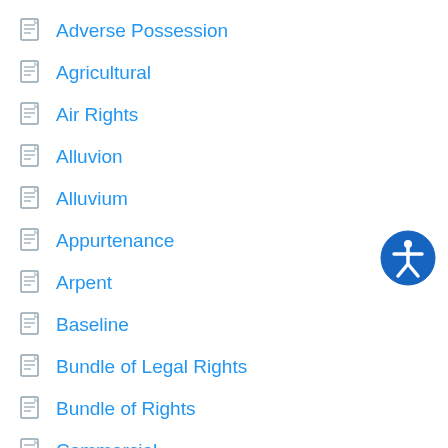Adverse Possession
Agricultural
Air Rights
Alluvion
Alluvium
Appurtenance
Arpent
Baseline
Bundle of Legal Rights
Bundle of Rights
Commercial
COMMERCIAL BUILDING
[Figure (illustration): Blue circular accessibility icon with white figure of a person with arms and legs spread]